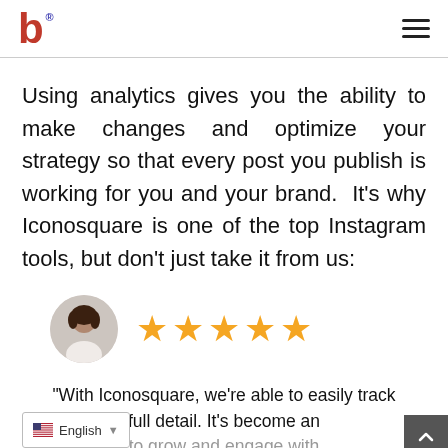b [logo] [hamburger menu]
Using analytics gives you the ability to make changes and optimize your strategy so that every post you publish is working for you and your brand.  It's why Iconosquare is one of the top Instagram tools, but don't just take it from us:
[Figure (illustration): Circular avatar photo of a woman and five gold star rating icons]
“With Iconosquare, we’re able to easily track [something in] full detail. It’s become an [something] to grow and engage with